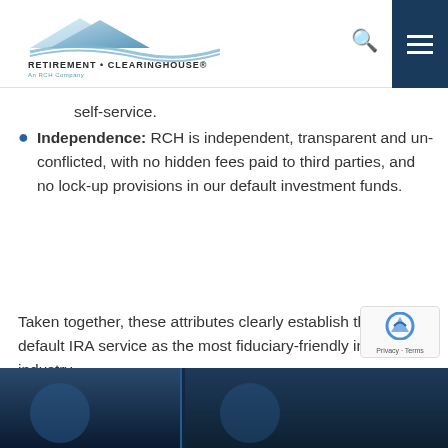Retirement Clearinghouse (RCH) - navigation header with logo, search, and menu
self-service.
Independence: RCH is independent, transparent and un-conflicted, with no hidden fees paid to third parties, and no lock-up provisions in our default investment funds.
Taken together, these attributes clearly establish the RCH default IRA service as the most fiduciary-friendly in the industry.
[Figure (photo): Dark blue banner strip at bottom of page showing partial imagery]